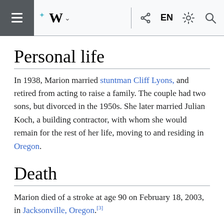Wikipedia mobile navigation bar with hamburger menu, Wikipedia W logo, share, EN, settings, and search icons
Personal life
In 1938, Marion married stuntman Cliff Lyons, and retired from acting to raise a family. The couple had two sons, but divorced in the 1950s. She later married Julian Koch, a building contractor, with whom she would remain for the rest of her life, moving to and residing in Oregon.
Death
Marion died of a stroke at age 90 on February 18, 2003, in Jacksonville, Oregon.[3]